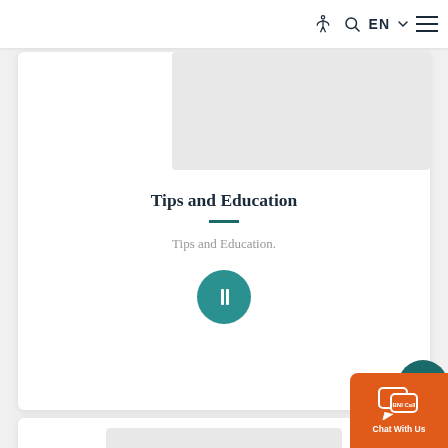Navigation bar with accessibility, search, EN language selector, and menu icons
[Figure (screenshot): Gray image placeholder at top of Tips and Education card]
Tips and Education
Tips and Education.
[Figure (other): Teal circular play/info button]
[Figure (other): Teal circular share button on right side]
[Figure (other): Teal circular up arrow button on right side]
[Figure (screenshot): Bottom card with gray image area and loading spinner]
[Figure (other): Orange BNI Call chat widget button with Chat With Us text]